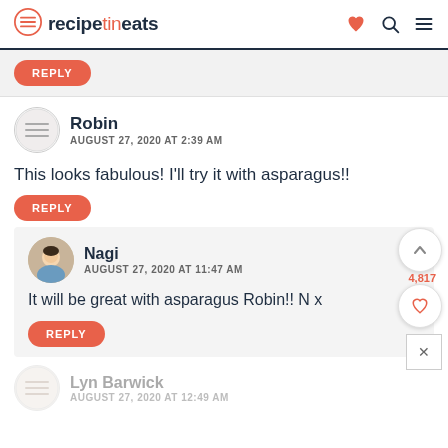recipetineats
REPLY
Robin
AUGUST 27, 2020 AT 2:39 AM
This looks fabulous! I'll try it with asparagus!!
REPLY
Nagi
AUGUST 27, 2020 AT 11:47 AM
It will be great with asparagus Robin!! N x
REPLY
4,817
Lyn Barwick
AUGUST 27, 2020 AT 12:49 AM